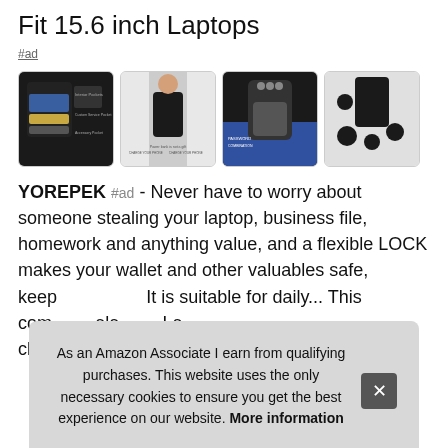Fit 15.6 inch Laptops
#ad
[Figure (photo): Four product images of a YOREPEK backpack showing various features including compartments, lock mechanism, and component breakdown]
YOREPEK #ad - Never have to worry about someone stealing your laptop, business file, homework and anything value, and a flexible LOCK makes your wallet and other valuables safe, keep... This... com... elec... Len... chromebook microsoft 14 15 inch laptop
As an Amazon Associate I earn from qualifying purchases. This website uses the only necessary cookies to ensure you get the best experience on our website. More information